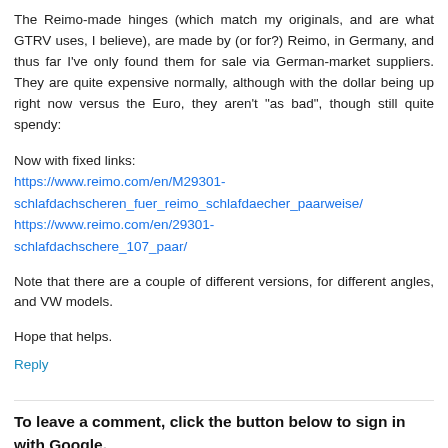The Reimo-made hinges (which match my originals, and are what GTRV uses, I believe), are made by (or for?) Reimo, in Germany, and thus far I've only found them for sale via German-market suppliers. They are quite expensive normally, although with the dollar being up right now versus the Euro, they aren't "as bad", though still quite spendy:
Now with fixed links:
https://www.reimo.com/en/M29301-schlafdachscheren_fuer_reimo_schlafdaecher_paarweise/
https://www.reimo.com/en/29301-schlafdachschere_107_paar/
Note that there are a couple of different versions, for different angles, and VW models.
Hope that helps.
Reply
To leave a comment, click the button below to sign in with Google.